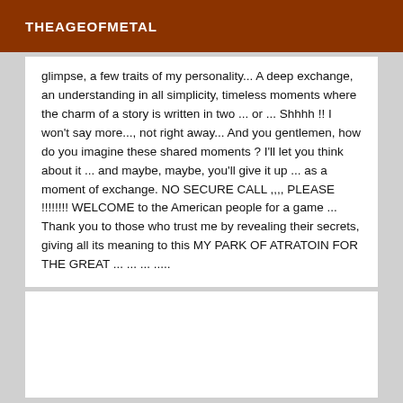THEAGEOFMETAL
glimpse, a few traits of my personality... A deep exchange, an understanding in all simplicity, timeless moments where the charm of a story is written in two ... or ... Shhhh !! I won't say more..., not right away... And you gentlemen, how do you imagine these shared moments ? I'll let you think about it ... and maybe, maybe, you'll give it up ... as a moment of exchange. NO SECURE CALL ,,,, PLEASE !!!!!!!! WELCOME to the American people for a game ... Thank you to those who trust me by revealing their secrets, giving all its meaning to this MY PARK OF ATRATOIN FOR THE GREAT ... ... ... .....